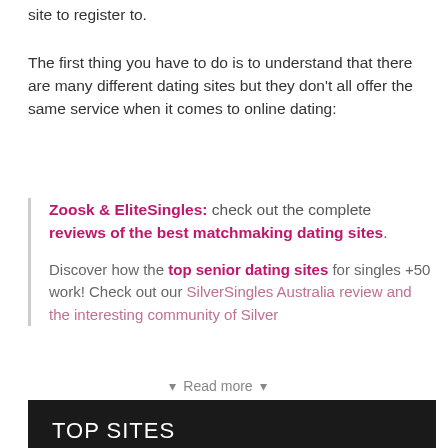site to register to.
The first thing you have to do is to understand that there are many different dating sites but they don't all offer the same service when it comes to online dating:
Zoosk & EliteSingles:  check out the complete reviews of the best matchmaking dating sites. Discover how the top senior dating sites for singles +50 work! Check out our SilverSingles Australia review and the interesting community of Silver
▾  Read more  ▾
TOP SITES
1